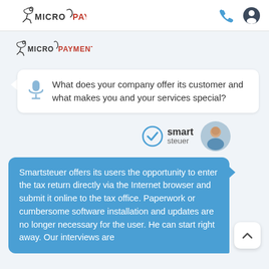MICRO PAYMENT (logo navigation bar)
[Figure (logo): Micro Payment logo - secondary, shown in content area]
What does your company offer its customer and what makes you and your services special?
[Figure (logo): Smartsteuer logo with checkmark icon and person avatar photo]
Smartsteuer offers its users the opportunity to enter the tax return directly via the Internet browser and submit it online to the tax office. Paperwork or cumbersome software installation and updates are no longer necessary for the user. He can start right away. Our interviews are